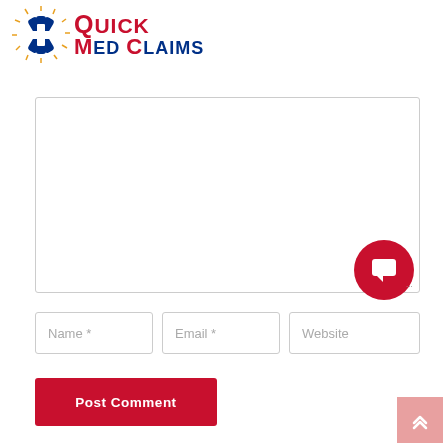[Figure (logo): Quick Med Claims logo with star of life emblem and red/blue text]
Comment
[Figure (other): Red circular chat/comment button with white speech bubble icon]
Name *
Email *
Website
Post Comment
[Figure (other): Light pink back-to-top button with double chevron up arrows]